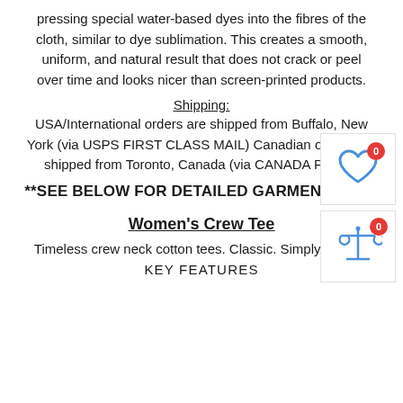pressing special water-based dyes into the fibres of the cloth, similar to dye sublimation. This creates a smooth, uniform, and natural result that does not crack or peel over time and looks nicer than screen-printed products.
Shipping:
USA/International orders are shipped from Buffalo, New York (via USPS FIRST CLASS MAIL) Canadian orders are shipped from Toronto, Canada (via CANADA POST).
[Figure (illustration): Heart icon with red badge showing 0]
[Figure (illustration): Scales of justice icon with red badge showing 0]
**SEE BELOW FOR DETAILED GARMENT INFO*
Women's Crew Tee
Timeless crew neck cotton tees. Classic. Simply. Comfy.
KEY FEATURES